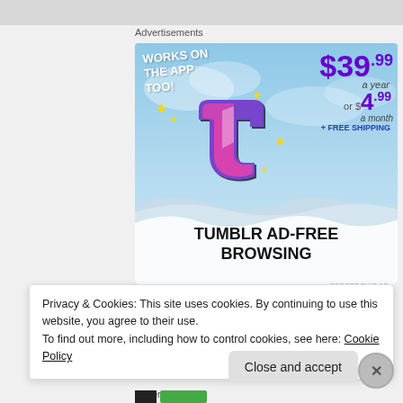Advertisements
[Figure (illustration): Tumblr Ad-Free Browsing advertisement. Shows Tumblr logo 't' with sparkles on a light blue sky background. Text reads: WORKS ON THE APP TOO!, $39.99 a year or $4.99 a month + FREE SHIPPING. Bottom text: TUMBLR AD-FREE BROWSING.]
REPORT THIS AD
Privacy & Cookies: This site uses cookies. By continuing to use this website, you agree to their use.
To find out more, including how to control cookies, see here: Cookie Policy
Close and accept
Advertisements